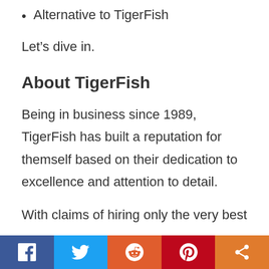Alternative to TigerFish
Let’s dive in.
About TigerFish
Being in business since 1989, TigerFish has built a reputation for themself based on their dedication to excellence and attention to detail.
With claims of hiring only the very best